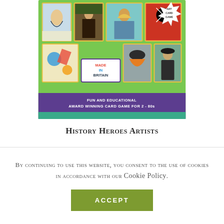[Figure (photo): Product photo of 'History Heroes Artists' card game box. The box features a green background with illustrated art cards showing The Scream, Mona Lisa, Van Gogh, Basquiat artwork, Kandinsky-style art, a lobster, a bowler hat figure, and orange artwork. A 'Made in Britain' label is on the front. The bottom has a purple banner reading 'Fun and Educational Award Winning Card Game for 2 - 80s'. A starburst badge is in the top right corner.]
History Heroes Artists
By continuing to use this website, you consent to the use of cookies in accordance with our Cookie Policy.